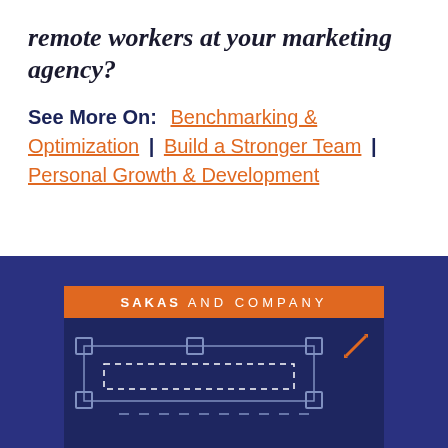remote workers at your marketing agency?
See More On: Benchmarking & Optimization | Build a Stronger Team | Personal Growth & Development
[Figure (infographic): Sakas and Company branded infographic showing a road/path diagram with dashed lines and connection nodes on a dark navy background, with an orange header banner reading SAKAS AND COMPANY and an expand icon in the top right corner.]